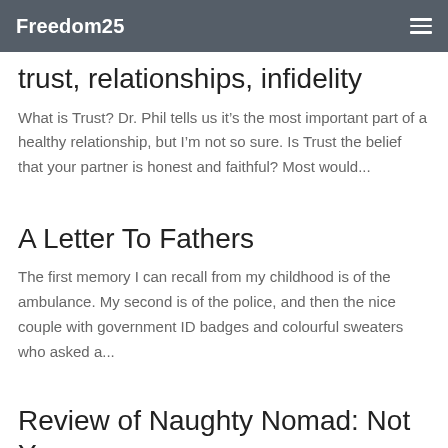Freedom25
trust, relationships, infidelity
What is Trust? Dr. Phil tells us it’s the most important part of a healthy relationship, but I’m not so sure. Is Trust the belief that your partner is honest and faithful? Most would...
A Letter To Fathers
The first memory I can recall from my childhood is of the ambulance. My second is of the police, and then the nice couple with government ID badges and colourful sweaters who asked a...
Review of Naughty Nomad: Not Your